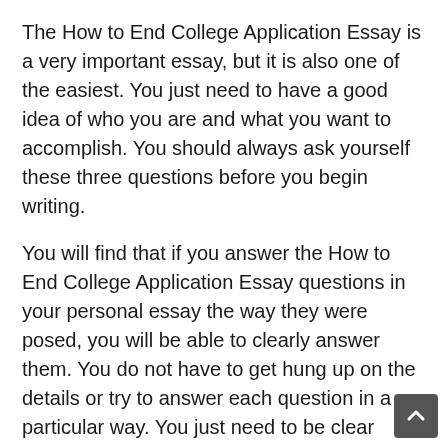The How to End College Application Essay is a very important essay, but it is also one of the easiest. You just need to have a good idea of who you are and what you want to accomplish. You should always ask yourself these three questions before you begin writing.
You will find that if you answer the How to End College Application Essay questions in your personal essay the way they were posed, you will be able to clearly answer them. You do not have to get hung up on the details or try to answer each question in a particular way. You just need to be clear about what you are trying to say and be as concise as possible.
Remember, the How to End College Application Essay is the first impression the admissions officer will have of you. You do not want them to get the wrong impression about you. You want to put your best foot forward so that the admissions officer knows you will be able to make an impression.
Finally, if you have never been to write a How to End Colle...